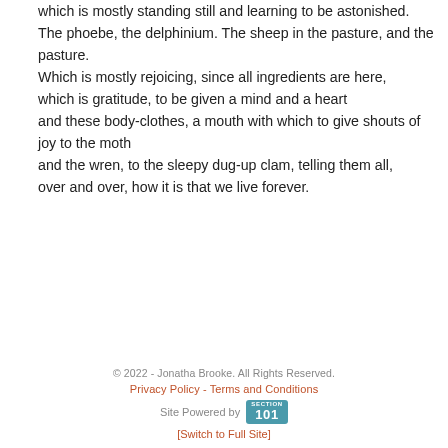which is mostly standing still and learning to be astonished.
The phoebe, the delphinium. The sheep in the pasture, and the pasture.
Which is mostly rejoicing, since all ingredients are here,
which is gratitude, to be given a mind and a heart
and these body-clothes, a mouth with which to give shouts of joy to the moth
and the wren, to the sleepy dug-up clam, telling them all,
over and over, how it is that we live forever.
© 2022 - Jonatha Brooke. All Rights Reserved.
Privacy Policy - Terms and Conditions
Site Powered by SECTION 101
[Switch to Full Site]